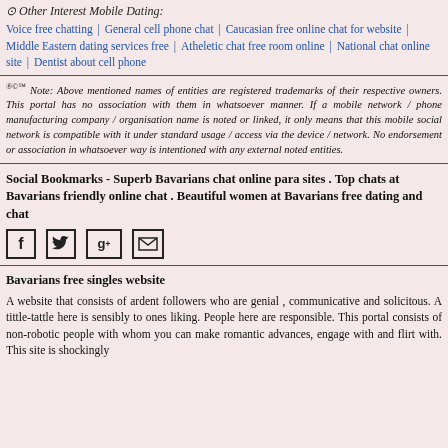⊙ Other Interest Mobile Dating:
Voice free chatting | General cell phone chat | Caucasian free online chat for website | Middle Eastern dating services free | Atheletic chat free room online | National chat online site | Dentist about cell phone
®©™ Note: Above mentioned names of entities are registered trademarks of their respective owners. This portal has no association with them in whatsoever manner. If a mobile network / phone manufacturing company / organisation name is noted or linked, it only means that this mobile social network is compatible with it under standard usage / access via the device / network. No endorsement or association in whatsoever way is intentioned with any external noted entities.
Social Bookmarks - Superb Bavarians chat online para sites . Top chats at Bavarians friendly online chat . Beautiful women at Bavarians free dating and chat
[Figure (infographic): Social media icons: Facebook (f), Twitter (bird), Google+ (g+), Email (envelope)]
Bavarians free singles website
A website that consists of ardent followers who are genial , communicative and solicitous. A tittle-tattle here is sensibly to ones liking. People here are responsible. This portal consists of non-robotic people with whom you can make romantic advances, engage with and flirt with. This site is shockingly